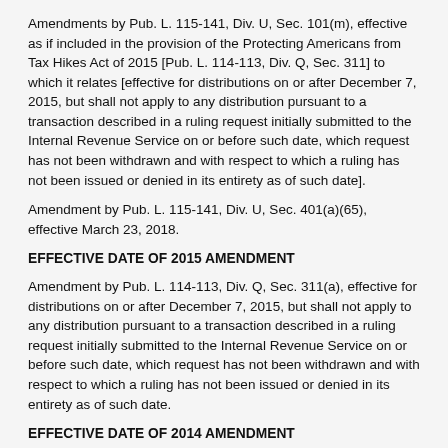Amendments by Pub. L. 115-141, Div. U, Sec. 101(m), effective as if included in the provision of the Protecting Americans from Tax Hikes Act of 2015 [Pub. L. 114-113, Div. Q, Sec. 311] to which it relates [effective for distributions on or after December 7, 2015, but shall not apply to any distribution pursuant to a transaction described in a ruling request initially submitted to the Internal Revenue Service on or before such date, which request has not been withdrawn and with respect to which a ruling has not been issued or denied in its entirety as of such date].
Amendment by Pub. L. 115-141, Div. U, Sec. 401(a)(65), effective March 23, 2018.
EFFECTIVE DATE OF 2015 AMENDMENT
Amendment by Pub. L. 114-113, Div. Q, Sec. 311(a), effective for distributions on or after December 7, 2015, but shall not apply to any distribution pursuant to a transaction described in a ruling request initially submitted to the Internal Revenue Service on or before such date, which request has not been withdrawn and with respect to which a ruling has not been issued or denied in its entirety as of such date.
EFFECTIVE DATE OF 2014 AMENDMENT
Amendment by Pub. L. 113-295, Div. A, Sec. 221(a)(50), effective on the date of the enactment of this Act [Enacted: Dec. 19, 2014].
Section 221(b)(2) of Pub. L. 113-295, Div. A, provided the following Savings Provision: